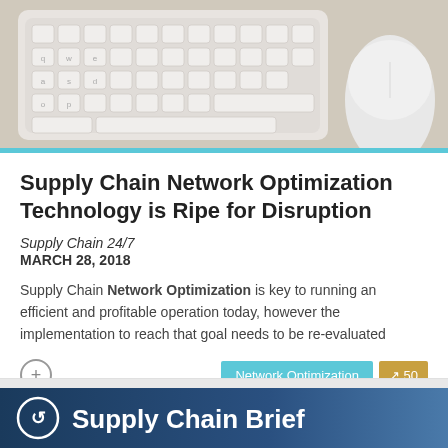[Figure (photo): Overhead photo of a white Apple keyboard and Magic Mouse on a light wooden desk surface]
Supply Chain Network Optimization Technology is Ripe for Disruption
Supply Chain 24/7
MARCH 28, 2018
Supply Chain Network Optimization is key to running an efficient and profitable operation today, however the implementation to reach that goal needs to be re-evaluated
[Figure (photo): Dark blue banner with circular logo icon and 'Supply Chain Brief' white text]